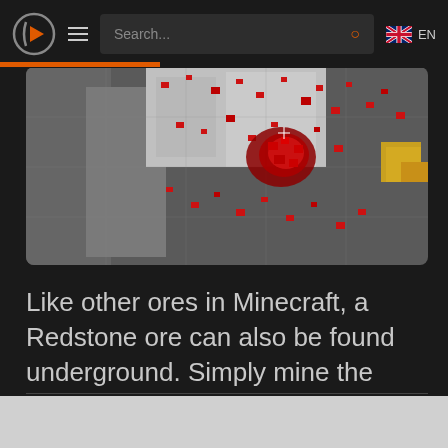Search... EN
[Figure (screenshot): Minecraft game screenshot showing Redstone ore blocks with red particles/dust visible on stone blocks in an underground setting]
Like other ores in Minecraft, a Redstone ore can also be found underground. Simply mine the Redstone ore to get Redstone dust.